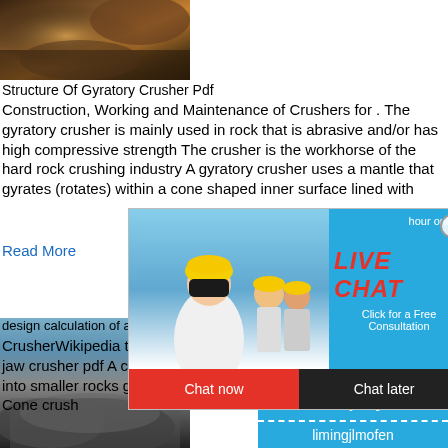[Figure (photo): Overhead photo of mining/crushing operation with rocks and machinery, brown and orange tones]
Structure Of Gyratory Crusher Pdf
Construction, Working and Maintenance of Crushers for . The gyratory crusher is mainly used in rock that is abrasive and/or has high compressive strength The crusher is the workhorse of the hard rock crushing industry A gyratory crusher uses a mantle that gyrates (rotates) within a cone shaped inner surface lined with
Read More
[Figure (photo): Live Chat popup overlay with person in hard hat, red and black chat buttons]
[Figure (photo): Left side: crushing operation with rocks and dust. Right side: blue panel with crusher machine image, Click me to chat button, Enquiry button, limingjlmofen text]
design calculation of a gyratory crusher pdf
CrusherWikipedia the free encyclopedia- design calculation of the jaw crusher pdf A crusher is a machine that reduces large rocks into smaller rocks gravel or rock crusher 32 Gyratory crusher 33 Cone crush